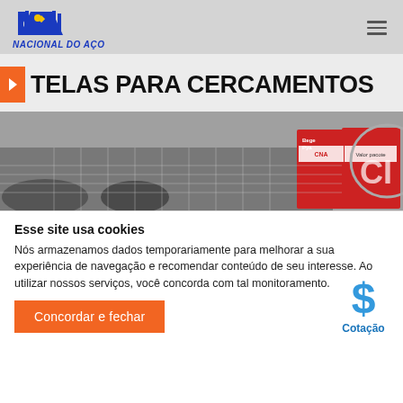[Figure (logo): CNA Nacional do Aço logo — blue geometric shield/arrow shape with yellow diamond, text NACIONAL DO AÇO in blue italic bold below]
TELAS PARA CERCAMENTOS
[Figure (photo): Photo of metal wire mesh fencing products with red and white branded packaging/labels visible]
Esse site usa cookies
Nós armazenamos dados temporariamente para melhorar a sua experiência de navegação e recomendar conteúdo de seu interesse. Ao utilizar nossos serviços, você concorda com tal monitoramento.
[Figure (illustration): Blue dollar sign icon with the label Cotação below in blue text]